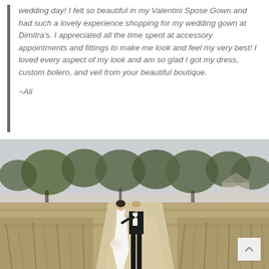wedding day! I felt so beautiful in my Valentini Spose Gown and had such a lovely experience shopping for my wedding gown at Dimitra's. I appreciated all the time spent at accessory appointments and fittings to make me look and feel my very best! I loved every aspect of my look and am so glad I got my dress, custom bolero, and veil from your beautiful boutique.
~Ali
[Figure (photo): A bride in a white fitted gown and a groom in a black tuxedo with bow tie walk hand-in-hand along a sandy path through tall golden grass and green trees in the background.]